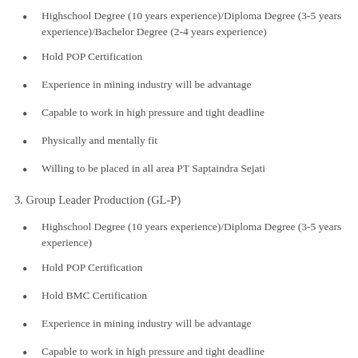Highschool Degree (10 years experience)/Diploma Degree (3-5 years experience)/Bachelor Degree (2-4 years experience)
Hold POP Certification
Experience in mining industry will be advantage
Capable to work in high pressure and tight deadline
Physically and mentally fit
Willing to be placed in all area PT Saptaindra Sejati
3. Group Leader Production (GL-P)
Highschool Degree (10 years experience)/Diploma Degree (3-5 years experience)
Hold POP Certification
Hold BMC Certification
Experience in mining industry will be advantage
Capable to work in high pressure and tight deadline
Physically and mentally fit
Willing to be placed in all area PT Saptaindra Sejati